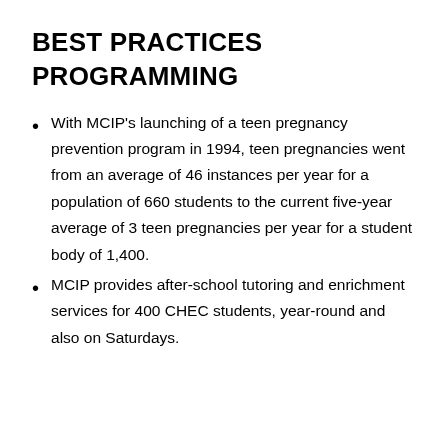BEST PRACTICES
PROGRAMMING
With MCIP's launching of a teen pregnancy prevention program in 1994, teen pregnancies went from an average of 46 instances per year for a population of 660 students to the current five-year average of 3 teen pregnancies per year for a student body of 1,400.
MCIP provides after-school tutoring and enrichment services for 400 CHEC students, year-round and also on Saturdays.